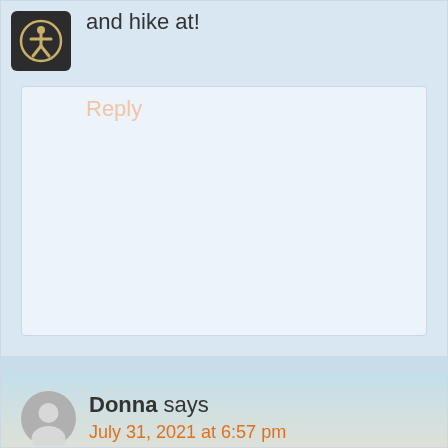and hike at!
Reply
Donna says
July 31, 2021 at 6:57 pm
Did you have to use a telephoto lens to take pictures or just a regular lens? Trying to decide whether to carry my “real” camera or just use my iPhone 12. Your